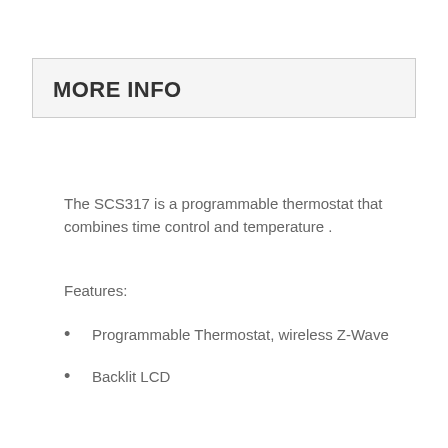MORE INFO
The SCS317 is a programmable thermostat that combines time control and temperature .
Features:
Programmable Thermostat, wireless Z-Wave
Backlit LCD
Long life battery : 2 years
Alert when low battery
Storing the configuration even if no battery
Programming on a week
6 temperature changes per day
Easy to install and use
Module Type : Z-Wave Controller